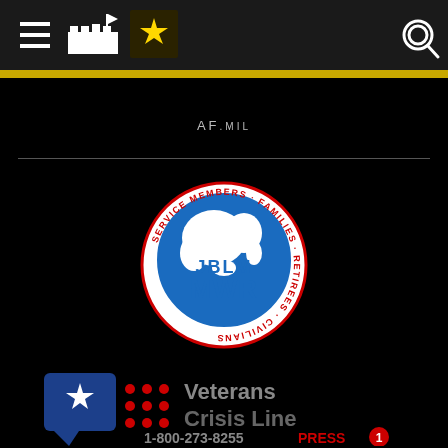[Figure (screenshot): Top navigation bar with hamburger menu icon, JBLM building/flag icon, US Army star logo, and search magnifier icon on dark background]
AF.MIL
[Figure (logo): JBLM MWR circular logo: globe in blue with text JBLM MWR in center, surrounding text reads SERVICE MEMBERS · FAMILIES · RETIREES · CIVILIANS in red on white circular border]
[Figure (logo): Veterans Crisis Line logo: blue chat bubble with white star, red dot grid, and text 'Veterans Crisis Line 1-800-273-8255 PRESS 1']